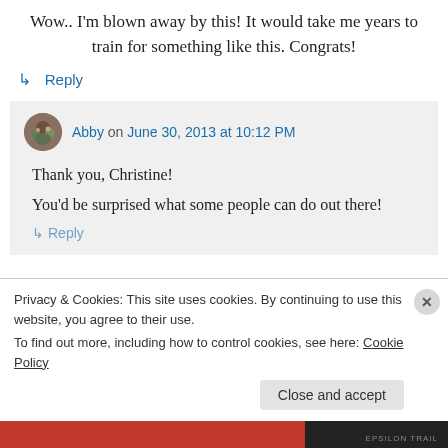Wow.. I'm blown away by this! It would take me years to train for something like this. Congrats!
↳ Reply
Abby on June 30, 2013 at 10:12 PM
Thank you, Christine! You'd be surprised what some people can do out there!
↳ Reply
Privacy & Cookies: This site uses cookies. By continuing to use this website, you agree to their use. To find out more, including how to control cookies, see here: Cookie Policy
Close and accept